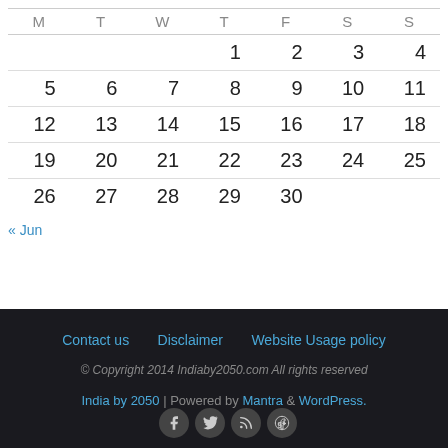| M | T | W | T | F | S | S |
| --- | --- | --- | --- | --- | --- | --- |
|  |  |  | 1 | 2 | 3 | 4 |
| 5 | 6 | 7 | 8 | 9 | 10 | 11 |
| 12 | 13 | 14 | 15 | 16 | 17 | 18 |
| 19 | 20 | 21 | 22 | 23 | 24 | 25 |
| 26 | 27 | 28 | 29 | 30 |  |  |
« Jun
Contact us   Disclaimer   Website Usage policy
© Copyright 2014 Indiaby2050.com All rights reserved
India by 2050 | Powered by Mantra & WordPress.